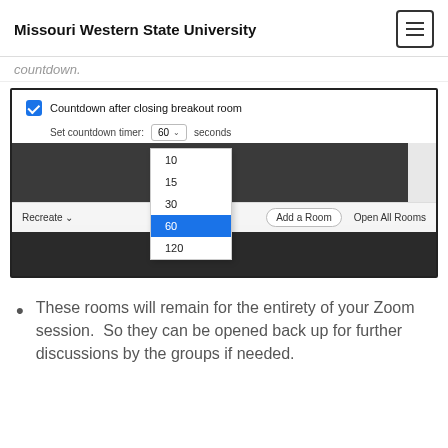Missouri Western State University
countdown.
[Figure (screenshot): A Zoom settings screenshot showing a checkbox 'Countdown after closing breakout room' checked, with a 'Set countdown timer' dropdown showing options 10, 15, 30, 60 (selected/highlighted in blue), 120 seconds. Below is a toolbar with 'Recreate', 'Add a Room', and 'Open All Rooms' buttons.]
These rooms will remain for the entirety of your Zoom session.  So they can be opened back up for further discussions by the groups if needed.